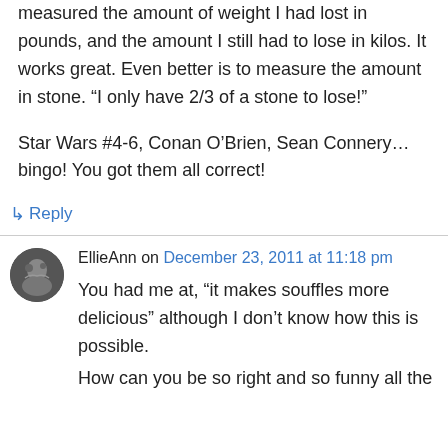measured the amount of weight I had lost in pounds, and the amount I still had to lose in kilos. It works great. Even better is to measure the amount in stone. “I only have 2/3 of a stone to lose!”
Star Wars #4-6, Conan O’Brien, Sean Connery…bingo! You got them all correct!
↳ Reply
EllieAnn on December 23, 2011 at 11:18 pm
You had me at, “it makes souffles more delicious” although I don’t know how this is possible.
How can you be so right and so funny all the